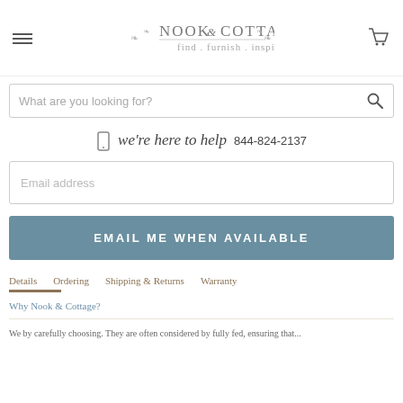[Figure (logo): Nook & Cottage logo with wreath decoration and tagline 'find . furnish . inspire']
What are you looking for?
we're here to help 844-824-2137
Email address
EMAIL ME WHEN AVAILABLE
Details   Ordering   Shipping & Returns   Warranty
Why Nook & Cottage?
We by carefully choosing. They are often considered by fully fed, ensuring that...